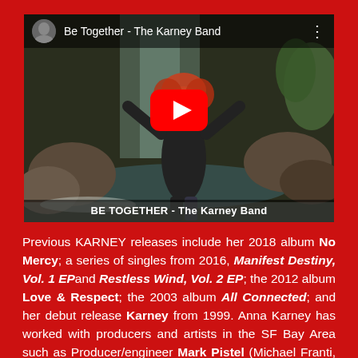[Figure (screenshot): YouTube video thumbnail showing a woman with curly red hair raising her arms in front of a waterfall/garden scene. The video title reads 'Be Together - The Karney Band'. A red YouTube play button is centered. Bottom bar reads 'BE TOGETHER - The Karney Band'.]
Previous KARNEY releases include her 2018 album No Mercy; a series of singles from 2016, Manifest Destiny, Vol. 1 EPand Restless Wind, Vol. 2 EP; the 2012 album Love & Respect; the 2003 album All Connected; and her debut release Karney from 1999. Anna Karney has worked with producers and artists in the SF Bay Area such as Producer/engineer Mark Pistel (Michael Franti, Grace Jones, Chuck Prophet), Producer/Engineer